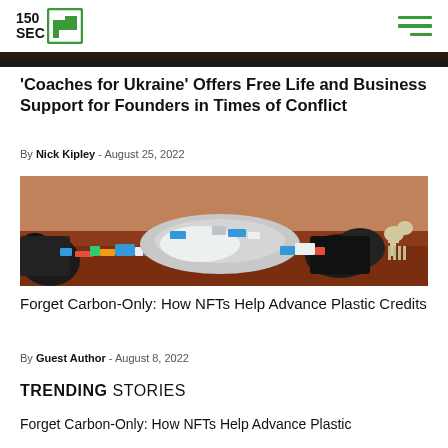150 SEC
[Figure (photo): Dark top edge of a photo, partially cropped]
'Coaches for Ukraine' Offers Free Life and Business Support for Founders in Times of Conflict
By Nick Kipley - August 25, 2022
[Figure (photo): Landfill/waste dump scene with piles of garbage including plastic and other debris, with a goat visible on the right side against a reddish earth background]
Forget Carbon-Only: How NFTs Help Advance Plastic Credits
By Guest Author - August 8, 2022
TRENDING STORIES
Forget Carbon-Only: How NFTs Help Advance Plastic